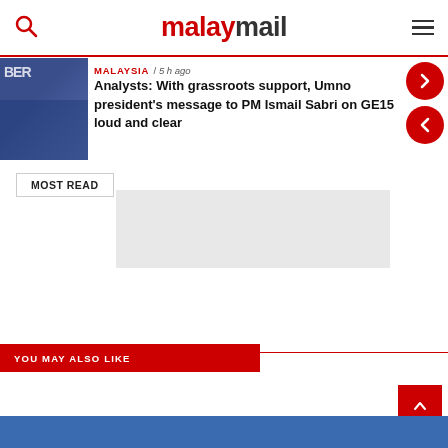malaymail
MALAYSIA / 5 h ago
Analysts: With grassroots support, Umno president's message to PM Ismail Sabri on GE15 loud and clear
MOST READ
YOU MAY ALSO LIKE